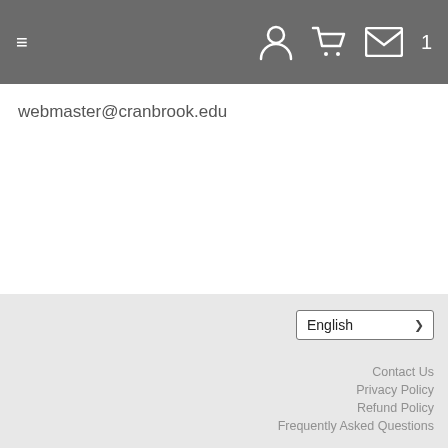≡  [user icon] [cart icon] [mail icon] 1
webmaster@cranbrook.edu
English
Contact Us
Privacy Policy
Refund Policy
Frequently Asked Questions
PO Box 801 - Bloomfield Hills, MI 48303-0801
[Figure (logo): Cranbrook Summer Camps logo — text logo with stylized C and serif lettering]